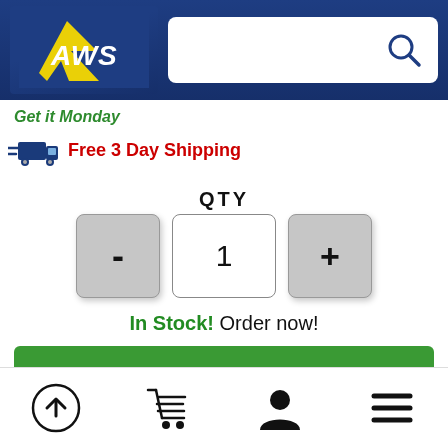[Figure (screenshot): AWS logo in blue header with yellow lightning bolt graphic]
Get it Monday
Free 3 Day Shipping
QTY
- 1 +
In Stock! Order now!
Add To Cart
Color: Natural
[Figure (infographic): Bottom navigation bar with icons: scroll-up circle, shopping cart, person/user, hamburger menu]